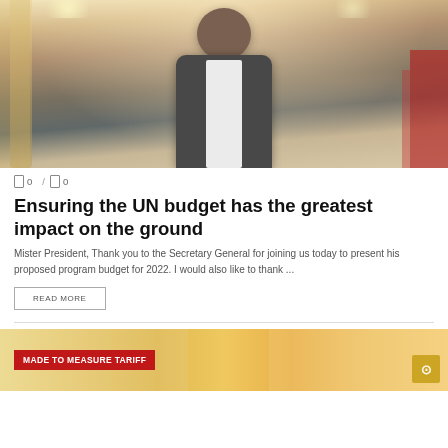[Figure (photo): Portrait photo of a man in a dark suit and white shirt, photographed indoors with warm architectural background]
0 / 0
Ensuring the UN budget has the greatest impact on the ground
Mister President, Thank you to the Secretary General for joining us today to present his proposed program budget for 2022. I would also like to thank ...
READ MORE
[Figure (photo): Partial view of a second article image with 'MADE TO MEASURE TARIFF' red banner overlay and colorful product imagery]